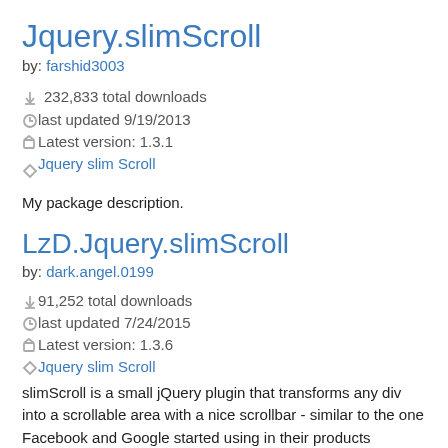Jquery.slimScroll
by: farshid3003
232,833 total downloads
last updated 9/19/2013
Latest version: 1.3.1
Jquery slim Scroll
My package description.
LzD.Jquery.slimScroll
by: dark.angel.0199
91,252 total downloads
last updated 7/24/2015
Latest version: 1.3.6
Jquery slim Scroll
slimScroll is a small jQuery plugin that transforms any div into a scrollable area with a nice scrollbar - similar to the one Facebook and Google started using in their products recently. slimScroll doesn't occupy any visual space as it only appears on a user initiated mouse-over. User can drag